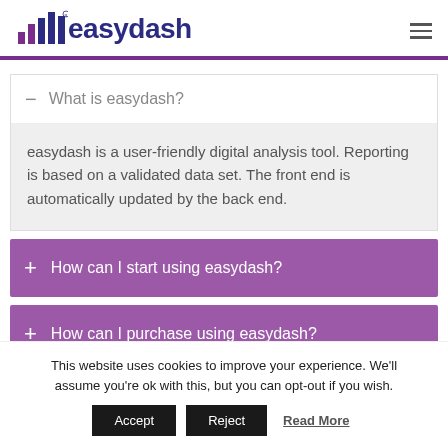[Figure (logo): easydash logo with bar chart icon in purple/navy and text 'easydash']
— What is easydash?
easydash is a user-friendly digital analysis tool. Reporting is based on a validated data set. The front end is automatically updated by the back end.
+ How can I start using easydash?
+ How can I purchase using easydash?
This website uses cookies to improve your experience. We'll assume you're ok with this, but you can opt-out if you wish.